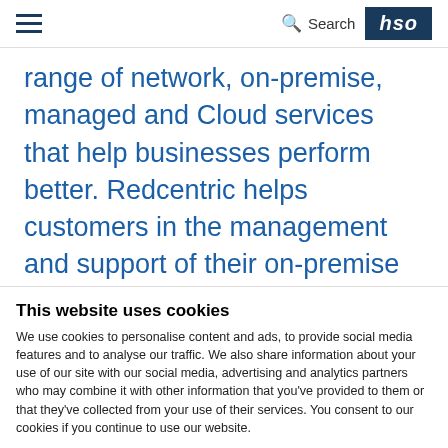HSO — Search navigation bar with hamburger menu
range of network, on-premise, managed and Cloud services that help businesses perform better. Redcentric helps customers in the management and support of their on-premise IT solutions and the transition to Cloud-based
This website uses cookies
We use cookies to personalise content and ads, to provide social media features and to analyse our traffic. We also share information about your use of our site with our social media, advertising and analytics partners who may combine it with other information that you've provided to them or that they've collected from your use of their services. You consent to our cookies if you continue to use our website.
Allow selection | Allow all cookies
Necessary | Preferences | Statistics | Marketing | Show details